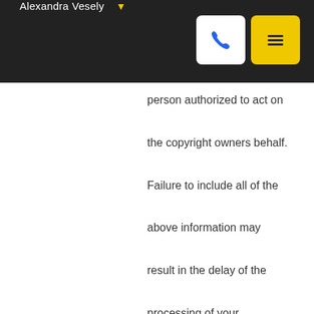Alexandra Vesely
person authorized to act on the copyright owners behalf. Failure to include all of the above information may result in the delay of the processing of your complaint.
Copyright © 2022 Midwest Real Estate Data LLC. Data is updated as of August 20, 2022 2:49 AM UTC